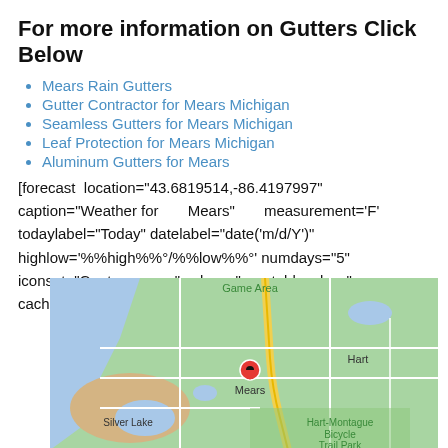For more information on Gutters Click Below
Mears Rain Gutters
Gutter Contractor for Mears Michigan
Seamless Gutters for Mears Michigan
Leaf Protection for Mears Michigan
Aluminum Gutters for Mears
[forecast location="43.6819514,-86.4197997" caption="Weather for Mears" measurement='F' todaylabel="Today" datelabel="date('m/d/Y')" highlow='%%high%%°/%%low%%°' numdays="5" iconset="Contemporary" class="css_table_class" cache="true" width="100%"]
[Figure (map): Google Map showing Mears, Michigan area with Silver Lake, Hart, and Hart-Montague Bicycle Trail Park labeled. Red location pin dropped on Mears.]